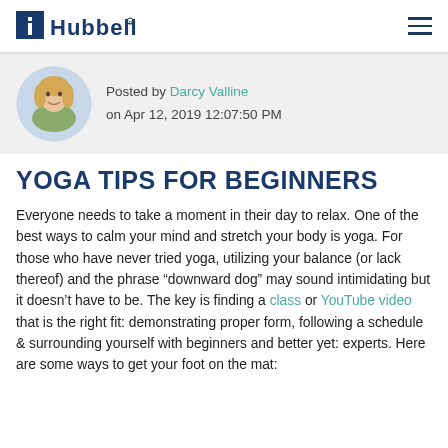Hubbell
[Figure (photo): Circular profile photo of a smiling blonde woman (Darcy Valline)]
Posted by Darcy Valline on Apr 12, 2019 12:07:50 PM
YOGA TIPS FOR BEGINNERS
Everyone needs to take a moment in their day to relax. One of the best ways to calm your mind and stretch your body is yoga. For those who have never tried yoga, utilizing your balance (or lack thereof) and the phrase “downward dog” may sound intimidating but it doesn’t have to be. The key is finding a class or YouTube video that is the right fit: demonstrating proper form, following a schedule & surrounding yourself with beginners and better yet: experts. Here are some ways to get your foot on the mat: